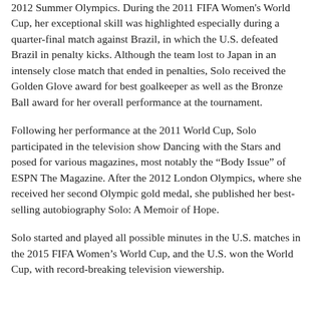2012 Summer Olympics. During the 2011 FIFA Women's World Cup, her exceptional skill was highlighted especially during a quarter-final match against Brazil, in which the U.S. defeated Brazil in penalty kicks. Although the team lost to Japan in an intensely close match that ended in penalties, Solo received the Golden Glove award for best goalkeeper as well as the Bronze Ball award for her overall performance at the tournament.
Following her performance at the 2011 World Cup, Solo participated in the television show Dancing with the Stars and posed for various magazines, most notably the “Body Issue” of ESPN The Magazine. After the 2012 London Olympics, where she received her second Olympic gold medal, she published her best-selling autobiography Solo: A Memoir of Hope.
Solo started and played all possible minutes in the U.S. matches in the 2015 FIFA Women’s World Cup, and the U.S. won the World Cup, with record-breaking television viewership.